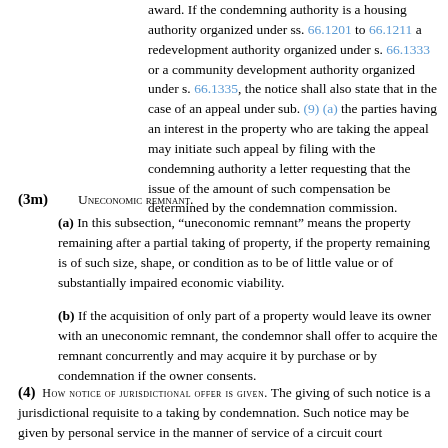award. If the condemning authority is a housing authority organized under ss. 66.1201 to 66.1211 a redevelopment authority organized under s. 66.1333 or a community development authority organized under s. 66.1335, the notice shall also state that in the case of an appeal under sub. (9) (a) the parties having an interest in the property who are taking the appeal may initiate such appeal by filing with the condemning authority a letter requesting that the issue of the amount of such compensation be determined by the condemnation commission.
(3m) UNECONOMIC REMNANT.
(a) In this subsection, “uneconomic remnant” means the property remaining after a partial taking of property, if the property remaining is of such size, shape, or condition as to be of little value or of substantially impaired economic viability.
(b) If the acquisition of only part of a property would leave its owner with an uneconomic remnant, the condemnor shall offer to acquire the remnant concurrently and may acquire it by purchase or by condemnation if the owner consents.
(4) HOW NOTICE OF JURISDICTIONAL OFFER IS GIVEN. The giving of such notice is a jurisdictional requisite to a taking by condemnation. Such notice may be given by personal service in the manner of service of a circuit court summons, or it may be transmitted by certified mail. If service is by mail, service of the papers shall be deemed completed on the date of mailing and the use of mail service shall not increase the time allowed to act in